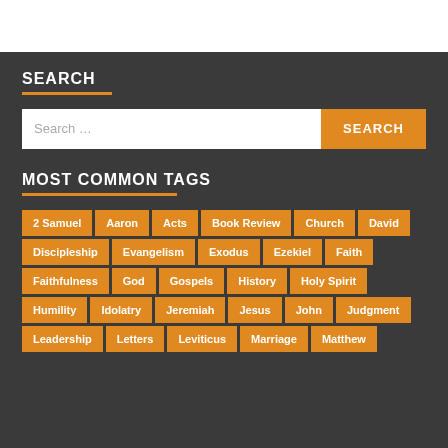SEARCH
Search ...
MOST COMMON TAGS
2 Samuel
Aaron
Acts
Book Review
Church
David
Discipleship
Evangelism
Exodus
Ezekiel
Faith
Faithfulness
God
Gospels
History
Holy Spirit
Humility
Idolatry
Jeremiah
Jesus
John
Judgment
Leadership
Letters
Leviticus
Marriage
Matthew